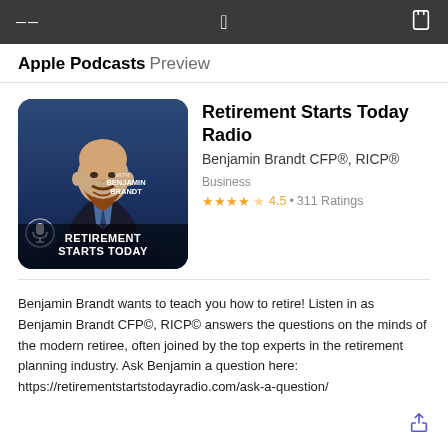Apple Podcasts Preview
[Figure (illustration): Podcast cover art for Retirement Starts Today with Benjamin Brandt. Shows a bald man with a beard in a suit, with text 'WITH BENJAMIN BRANDT' and 'RETIREMENT STARTS TODAY' overlaid on a dark blue/gradient background with a microphone logo.]
Retirement Starts Today Radio
Benjamin Brandt CFP®, RICP®
Business
★★★★★ 4.5 • 311 Ratings
Benjamin Brandt wants to teach you how to retire! Listen in as Benjamin Brandt CFP©, RICP© answers the questions on the minds of the modern retiree, often joined by the top experts in the retirement planning industry. Ask Benjamin a question here: https://retirementstartstodayradio.com/ask-a-question/